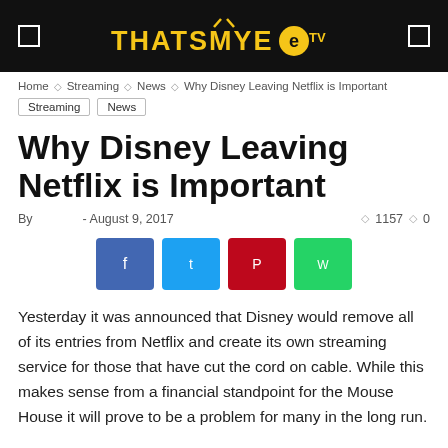THATSMYETV
Home ▸ Streaming ▸ News ▸ Why Disney Leaving Netflix is Important
Streaming
News
Why Disney Leaving Netflix is Important
By - August 9, 2017   1157   0
[Figure (other): Social sharing buttons: Facebook, Twitter, Pinterest, WhatsApp]
Yesterday it was announced that Disney would remove all of its entries from Netflix and create its own streaming service for those that have cut the cord on cable. While this makes sense from a financial standpoint for the Mouse House it will prove to be a problem for many in the long run.